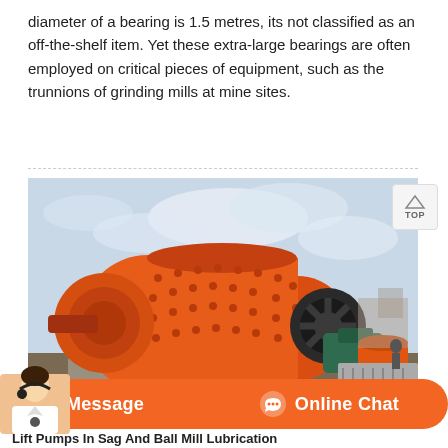diameter of a bearing is 1.5 metres, its not classified as an off-the-shelf item. Yet these extra-large bearings are often employed on critical pieces of equipment, such as the trunnions of grinding mills at mine sites.
[Figure (photo): Large orange industrial grinding mill (ball mill or SAG mill) on a mine site, with blue sky background. Several other industrial components visible in the background.]
Message
Online Chat
Lift Pumps In Sag And Ball Mill Lubrication